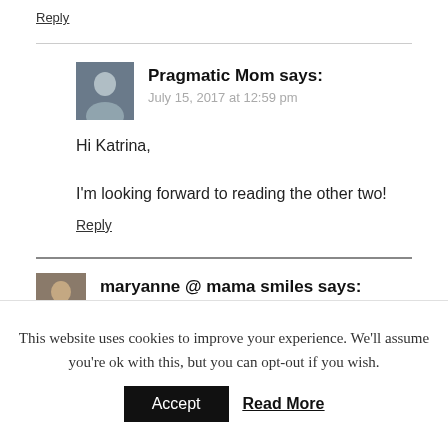Reply
Pragmatic Mom says:
July 15, 2017 at 12:59 pm
Hi Katrina,

I'm looking forward to reading the other two!
Reply
maryanne @ mama smiles says:
May 13, 2017 at 12:14 am
This website uses cookies to improve your experience. We'll assume you're ok with this, but you can opt-out if you wish.